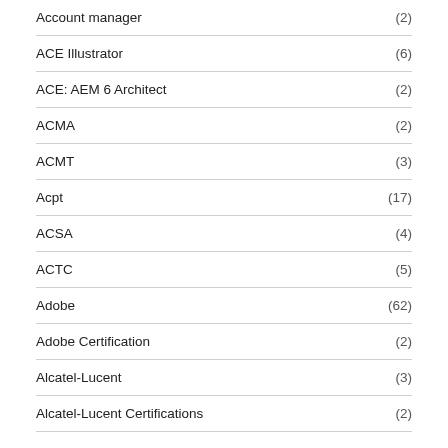Account manager (2)
ACE Illustrator (6)
ACE: AEM 6 Architect (2)
ACMA (2)
ACMT (3)
Acpt (17)
ACSA (4)
ACTC (5)
Adobe (62)
Adobe Certification (2)
Alcatel-Lucent (3)
Alcatel-Lucent Certifications (2)